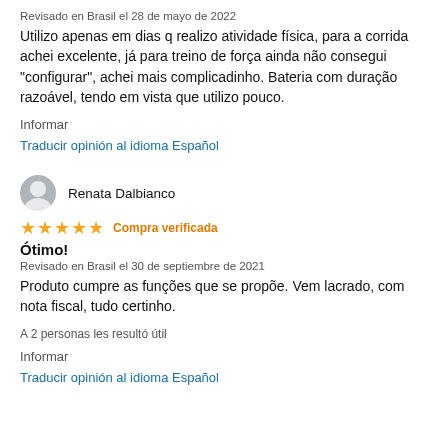Revisado en Brasil el 28 de mayo de 2022
Utilizo apenas em dias q realizo atividade física, para a corrida achei excelente, já para treino de força ainda não consegui "configurar", achei mais complicadinho. Bateria com duração razoável, tendo em vista que utilizo pouco.
Informar
Traducir opinión al idioma Español
Renata Dalbianco
★★★★★ Compra verificada
Ótimo!
Revisado en Brasil el 30 de septiembre de 2021
Produto cumpre as funções que se propõe. Vem lacrado, com nota fiscal, tudo certinho.
A 2 personas les resultó útil
Informar
Traducir opinión al idioma Español